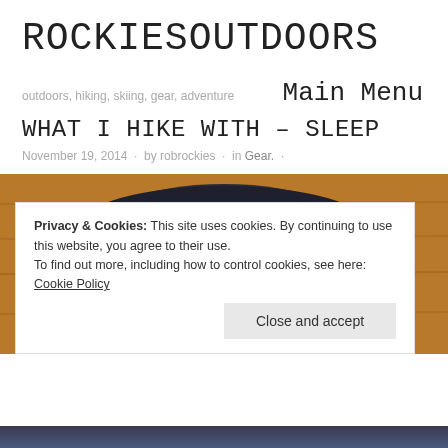ROCKIESOUTDOORS
outdoors, hiking, skiing, gear, adventure
Main Menu
WHAT I HIKE WITH – SLEEP
November 19, 2014 · by robrockies · in Gear. ·
[Figure (photo): A sleeping bag laid out on a wooden surface, showing dark exterior and blue interior lining]
Privacy & Cookies: This site uses cookies. By continuing to use this website, you agree to their use.
To find out more, including how to control cookies, see here: Cookie Policy
Close and accept